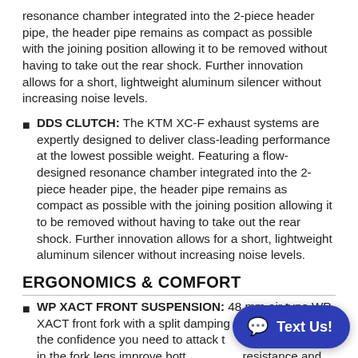resonance chamber integrated into the 2-piece header pipe, the header pipe remains as compact as possible with the joining position allowing it to be removed without having to take out the rear shock. Further innovation allows for a short, lightweight aluminum silencer without increasing noise levels.
DDS CLUTCH: The KTM XC-F exhaust systems are expertly designed to deliver class-leading performance at the lowest possible weight. Featuring a flow-designed resonance chamber integrated into the 2-piece header pipe, the header pipe remains as compact as possible with the joining position allowing it to be removed without having to take out the rear shock. Further innovation allows for a short, lightweight aluminum silencer without increasing noise levels.
ERGONOMICS & COMFORT
WP XACT FRONT SUSPENSION: 48 mm air type WP XACT front fork with a split damping function giving all the confidence you need to attack the trails. Dual hydrostops in the fork legs improve bottoming out resistance and account for less rebound when